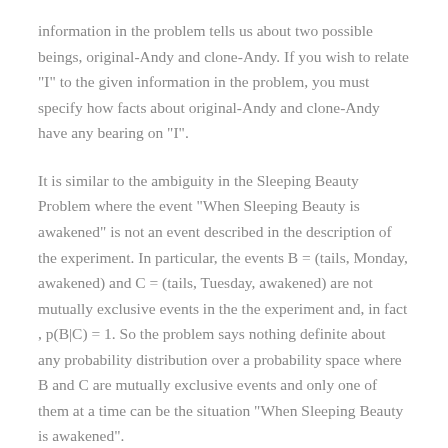information in the problem tells us about two possible beings, original-Andy and clone-Andy. If you wish to relate "I" to the given information in the problem, you must specify how facts about original-Andy and clone-Andy have any bearing on "I".
It is similar to the ambiguity in the Sleeping Beauty Problem where the event "When Sleeping Beauty is awakened" is not an event described in the description of the experiment. In particular, the events B = (tails, Monday, awakened) and C = (tails, Tuesday, awakened) are not mutually exclusive events in the the experiment and, in fact, p(B|C) = 1. So the problem says nothing definite about any probability distribution over a probability space where B and C are mutually exclusive events and only one of them at a time can be the situation "When Sleeping Beauty is awakened".